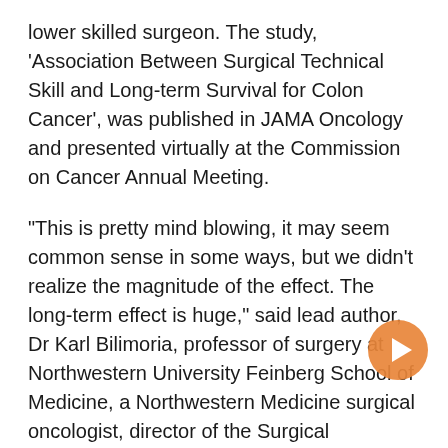lower skilled surgeon. The study, 'Association Between Surgical Technical Skill and Long-term Survival for Colon Cancer', was published in JAMA Oncology and presented virtually at the Commission on Cancer Annual Meeting.
"This is pretty mind blowing, it may seem common sense in some ways, but we didn't realize the magnitude of the effect. The long-term effect is huge," said lead author, Dr Karl Bilimoria, professor of surgery at Northwestern University Feinberg School of Medicine, a Northwestern Medicine surgical oncologist, director of the Surgical Outcomes and Quality Improvement Center of Northwestern and a member of the Robert H Lurie Comprehensive Cancer Center of Northwestern University. "Lots of experience with the procedure is a good marker of skill. General surgeons, colorectal